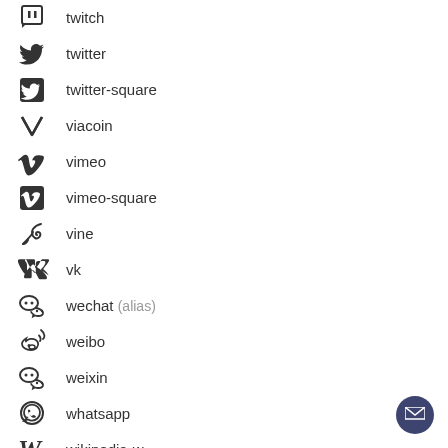twitch
twitter
twitter-square
viacoin
vimeo
vimeo-square
vine
vk
wechat (alias)
weibo
weixin
whatsapp
wikipedia-w
windows
wordpress